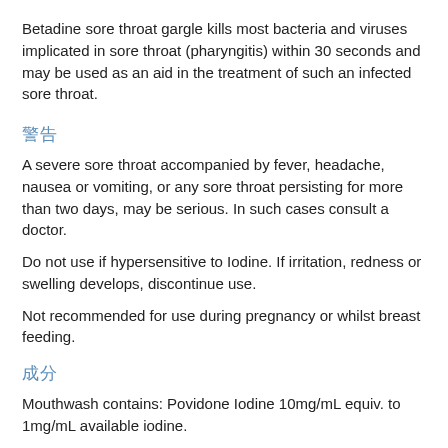Betadine sore throat gargle kills most bacteria and viruses implicated in sore throat (pharyngitis) within 30 seconds and may be used as an aid in the treatment of such an infected sore throat.
警告
A severe sore throat accompanied by fever, headache, nausea or vomiting, or any sore throat persisting for more than two days, may be serious. In such cases consult a doctor.
Do not use if hypersensitive to Iodine. If irritation, redness or swelling develops, discontinue use.
Not recommended for use during pregnancy or whilst breast feeding.
成分
Mouthwash contains: Povidone Iodine 10mg/mL equiv. to 1mg/mL available iodine.
用法用量
Betadine Ready to Use Sore Throat Gargle requires no dilution.
Pour Betadine to the fill line of the measure cup provided (15mL) and gargle for 30 seconds. Do not swallow. Repeat every 3 to 4 hours if necessary.